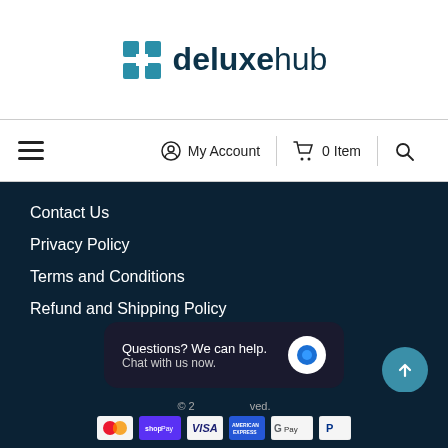[Figure (logo): Deluxehub logo with teal cube icon and dark blue text 'deluxehub']
≡  My Account  |  🛒 0 Item  |  🔍
Contact Us
Privacy Policy
Terms and Conditions
Refund and Shipping Policy
Questions? We can help. Chat with us now.
© 2... All rights reserved.
[Figure (infographic): Payment method icons: MasterCard, Shop Pay, VISA, American Express, Google Pay, PayPal]